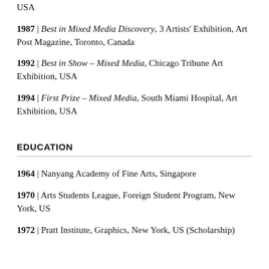USA
1987 | Best in Mixed Media Discovery, 3 Artists' Exhibition, Art Post Magazine, Toronto, Canada
1992 | Best in Show – Mixed Media, Chicago Tribune Art Exhibition, USA
1994 | First Prize – Mixed Media, South Miami Hospital, Art Exhibition, USA
EDUCATION
1964 | Nanyang Academy of Fine Arts, Singapore
1970 | Arts Students League, Foreign Student Program, New York, US
1972 | Pratt Institute, Graphics, New York, US (Scholarship)